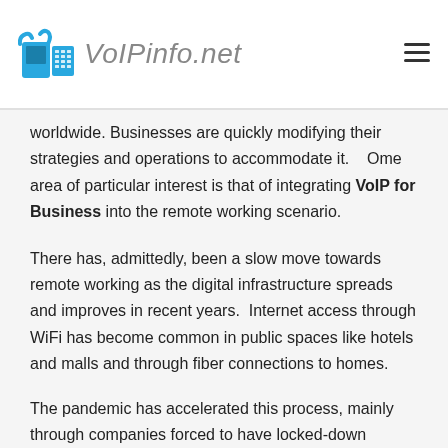VoIPinfo.net
worldwide.  Businesses are quickly modifying their strategies and operations to accommodate it.    Ome area of particular interest is that of integrating VoIP for Business into the remote working scenario.
There has, admittedly, been a slow move towards remote working as the digital infrastructure spreads and improves in recent years.  Internet access through WiFi has become common in public spaces like hotels and malls and through fiber connections to homes.
The pandemic has accelerated this process, mainly through companies forced to have locked-down workers working from home.  A second driver has been the effect on bricks and mortar retail outlets.  Foot traffic has plummeted, retail shops are closing and they all the more pave the way for...